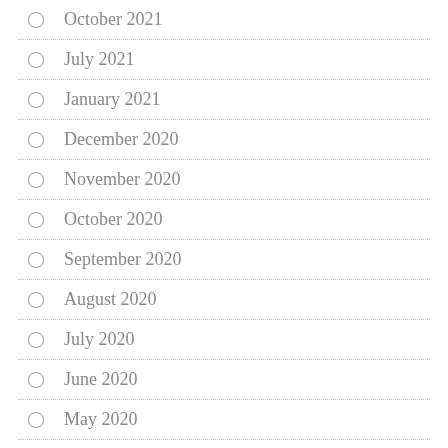October 2021
July 2021
January 2021
December 2020
November 2020
October 2020
September 2020
August 2020
July 2020
June 2020
May 2020
April 2020